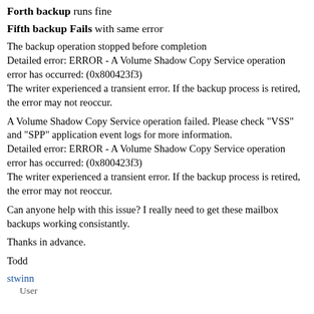Forth backup runs fine
Fifth backup Fails with same error
The backup operation stopped before completion
Detailed error: ERROR - A Volume Shadow Copy Service operation error has occurred: (0x800423f3)
The writer experienced a transient error. If the backup process is retired, the error may not reoccur.
A Volume Shadow Copy Service operation failed. Please check "VSS" and "SPP" application event logs for more information.
Detailed error: ERROR - A Volume Shadow Copy Service operation error has occurred: (0x800423f3)
The writer experienced a transient error. If the backup process is retired, the error may not reoccur.
Can anyone help with this issue? I really need to get these mailbox backups working consistantly.
Thanks in advance.
Todd
stwinn
User